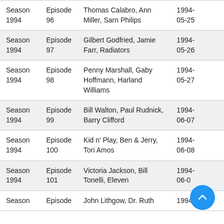| Season | Episode | Guests | Air Date |
| --- | --- | --- | --- |
| Season 1994 | Episode 96 | Thomas Calabro, Ann Miller, Sarn Philips | 1994-05-25 |
| Season 1994 | Episode 97 | Gilbert Godfried, Jamie Farr, Radiators | 1994-05-26 |
| Season 1994 | Episode 98 | Penny Marshall, Gaby Hoffmann, Harland Williams | 1994-05-27 |
| Season 1994 | Episode 99 | Bill Walton, Paul Rudnick, Barry Clifford | 1994-06-07 |
| Season 1994 | Episode 100 | Kid n' Play, Ben & Jerry, Tori Amos | 1994-06-08 |
| Season 1994 | Episode 101 | Victoria Jackson, Bill Tonelli, Eleven | 1994-06-0[8] |
| Season 1994 | Episode [?] | John Lithgow, Dr. Ruth | 1994- |